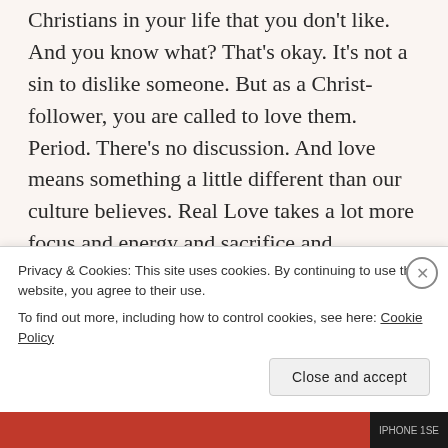Christians in your life that you don't like. And you know what? That's okay. It's not a sin to dislike someone. But as a Christ-follower, you are called to love them. Period. There's no discussion. And love means something a little different than our culture believes. Real Love takes a lot more focus and energy and sacrifice and endurance than what our culture calls love. Real Love is only possible with God's help.
People fail. Even Christians fail. They will disappoint you. They will hurt you. They'll reject you and lie to you and falsely accuse you. And in those...
Privacy & Cookies: This site uses cookies. By continuing to use this website, you agree to their use.
To find out more, including how to control cookies, see here: Cookie Policy
Close and accept